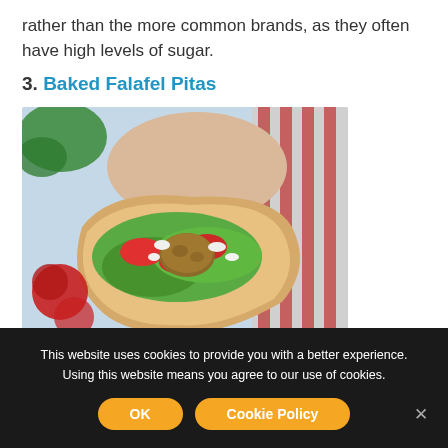rather than the more common brands, as they often have high levels of sugar.
3. Baked Falafel Pitas
[Figure (photo): A hand holding an open pita bread filled with falafel, lettuce, tomatoes, and white cheese crumbles, with tomatoes and a red striped cloth in the background.]
This website uses cookies to provide you with a better experience. Using this website means you agree to our use of cookies.